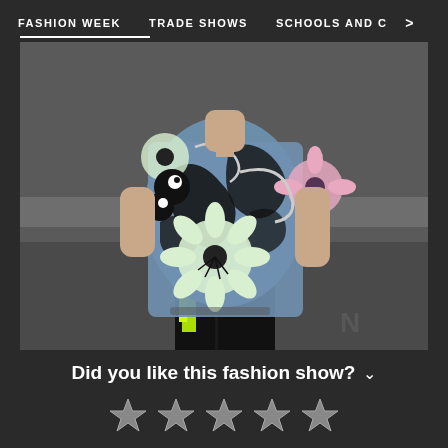FASHION WEEK   TRADE SHOWS   SCHOOLS AND C  >
[Figure (photo): A model wearing a bold floral print oversized shirt in blue, black, and white tones with pink flower accents, paired with black wide-leg pants and neon green metallic accessories, standing on a reflective floor against a grey background.]
Did you like this fashion show?
★ ★ ★ ★ ★